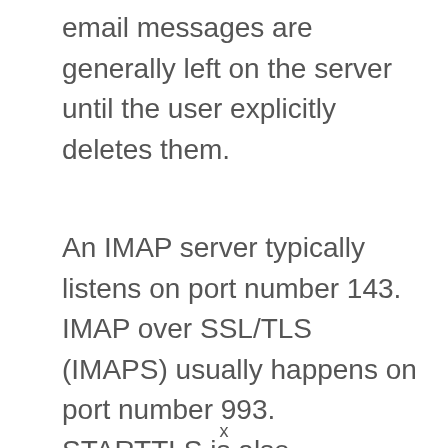email messages are generally left on the server until the user explicitly deletes them.
An IMAP server typically listens on port number 143. IMAP over SSL/TLS (IMAPS) usually happens on port number 993. STARTTLS is also supported by this protocol.
x